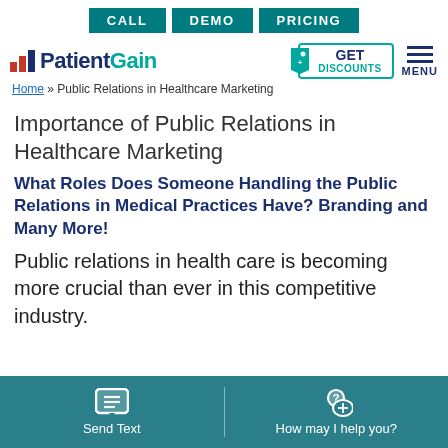CALL | DEMO | PRICING
[Figure (logo): PatientGain logo with bar chart icon, GET DISCOUNTS badge, and MENU icon]
Home » Public Relations in Healthcare Marketing
Importance of Public Relations in Healthcare Marketing
What Roles Does Someone Handling the Public Relations in Medical Practices Have? Branding and Many More!
Public relations in health care is becoming more crucial than ever in this competitive industry.
Send Text | How may I help you?